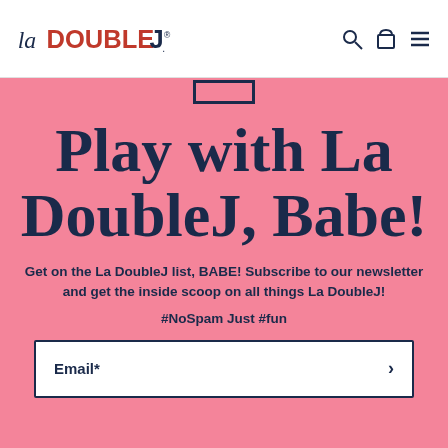La DoubleJ logo with navigation icons
Play with La DoubleJ, Babe!
Get on the La DoubleJ list, BABE! Subscribe to our newsletter and get the inside scoop on all things La DoubleJ!
#NoSpam Just #fun
Email*